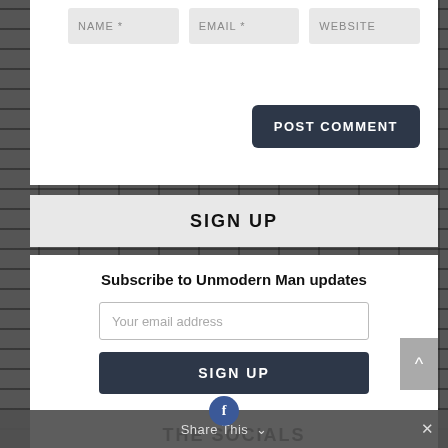[Figure (screenshot): Web form with three input fields: NAME *, EMAIL *, WEBSITE and a POST COMMENT button on dark brick background]
SIGN UP
Subscribe to Unmodern Man updates
[Figure (screenshot): Email input field with placeholder 'Your email address' and a SIGN UP button below it]
THE SOCIALS
Share This